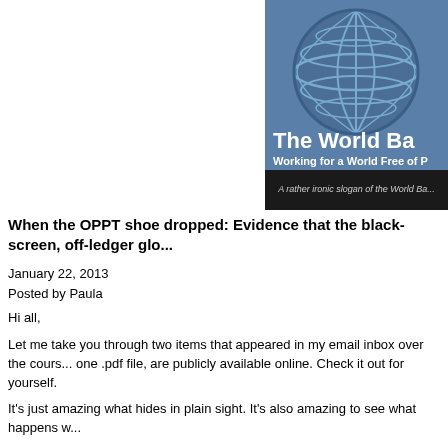[Figure (screenshot): World Bank logo/banner image showing a globe graphic with text 'The World Ba...' and subtitle 'Working for a World Free of P...' on a blue background, with a dark caption bar reading 'A rather ironic slogan of the World Ba...']
A rather ironic slogan of the World Ba...
When the OPPT shoe dropped: Evidence that the black-screen, off-ledger glo...
January 22, 2013
Posted by Paula
Hi all,
Let me take you through two items that appeared in my email inbox over the cours... one .pdf file, are publicly available online. Check it out for yourself.
It's just amazing what hides in plain sight. It's also amazing to see what happens w...
Here's what we've learned so far:
On behalf of us, the One People, OPPT has foreclosed on all of the global 'trust' a... trust, simply because we're all citizens of this planet, equally. Each global trust represents vast sums of money, all of it backed by gold, silver, and treasure.
That's a pretty chewy statement but let's go with it, just as a thought experiment.
OPPT proposes that Ten Billion Dollars ($10,000,000,000) USD is held in trust fo...